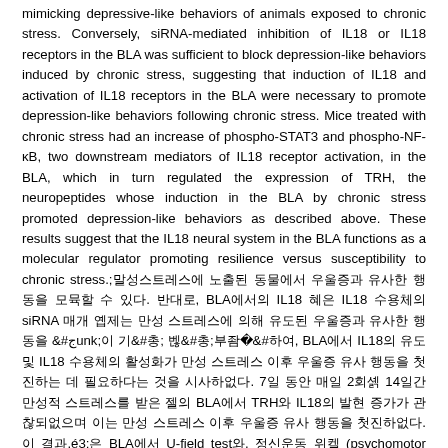mimicking depressive-like behaviors of animals exposed to chronic stress. Conversely, siRNA-mediated inhibition of IL18 or IL18 receptors in the BLA was sufficient to block depression-like behaviors induced by chronic stress, suggesting that induction of IL18 and activation of IL18 receptors in the BLA were necessary to promote depression-like behaviors following chronic stress. Mice treated with chronic stress had an increase of phospho-STAT3 and phospho-NF-κB, two downstream mediators of IL18 receptor activation, in the BLA, which in turn regulated the expression of TRH, the neuropeptides whose induction in the BLA by chronic stress promoted depression-like behaviors as described above. These results suggest that the IL18 neural system in the BLA functions as a molecular regulator promoting resilience versus susceptibility to chronic stress.;만성스트레스에 노출된 동물에서 우울증과 유사한 행동을 모방할 수 있다. 반대로, BLA에서의 IL18 혹은 IL18 수용체의 siRNA 매개 억제는 만성 스트레스에 의해 유도된 우울증과 유사한 행동을 차단하기 충분하여, BLA에서 IL18의 유도 및 IL18 수용체의 활성화가 만성 스트레스 이후 우울증 유사 행동을 촉진하는 데 필요하다는 것을 시사하였다. 7일 동안 매일 2회씩 14일간 만성적 스트레스를 받은 쥐의 BLA에서 TRH와 IL18의 발현 증가가 관찰되었으며 이는 만성 스트레스 이후 우울증 유사 행동을 촉진하였다. 이 결과들은 BLA에서 U-field test와, 정신운동 위축 (psychomotor withdrawal)을 평가를 위한 Tail suspension test (TST)와 Forced swimming test (FST), 새로움에 대한 반응을 평가하는 Novelty